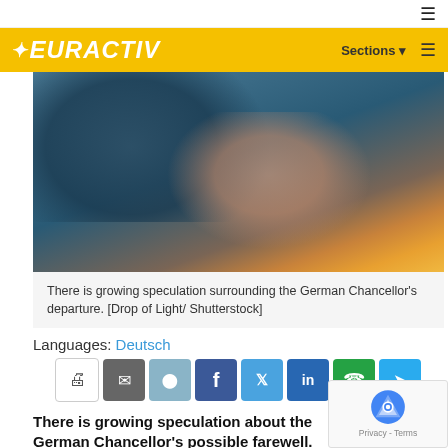≡
[Figure (logo): EURACTIV logo on yellow bar with Sections and hamburger menu]
[Figure (photo): Close-up profile photo of a woman (German Chancellor Angela Merkel) with a German flag visible in background]
There is growing speculation surrounding the German Chancellor's departure. [Drop of Light/ Shutterstock]
Languages: Deutsch
[Figure (infographic): Social share buttons: print, email, reddit, facebook, twitter, linkedin, whatsapp, telegram]
There is growing speculation about the German Chancellor's possible farewell. Meanwhile, the question of the carbon tax is being hotly debated. EURACTIV's media partner Der Tagesspiegel